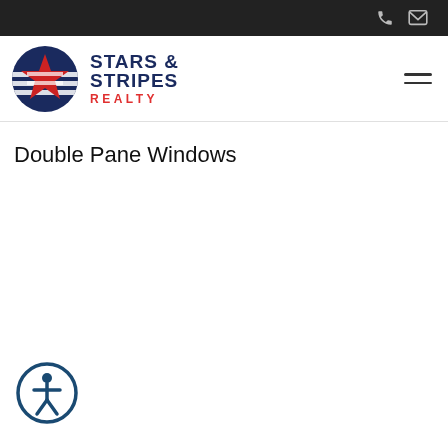Stars & Stripes Realty — navigation header with phone and email icons
[Figure (logo): Stars & Stripes Realty logo: navy circle with red star and white horizontal stripes, next to bold navy text STARS & STRIPES with red REALTY below]
Double Pane Windows
[Figure (illustration): Accessibility icon: circular navy border with person figure inside (wheelchair/accessibility symbol)]